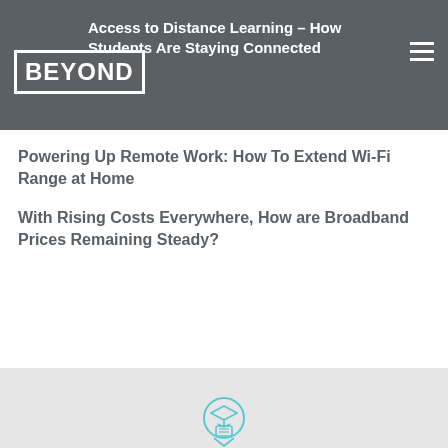Access to Distance Learning – How Students Are Staying Connected
BEYOND
Powering Up Remote Work: How To Extend Wi-Fi Range at Home
With Rising Costs Everywhere, How are Broadband Prices Remaining Steady?
Explore Our Initiatives
[Figure (illustration): Circular icon with a graduation cap and diploma/scroll, drawn in light blue outline style]